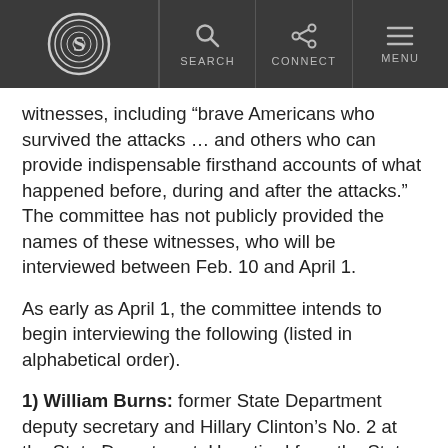Snopes navigation header with logo, SEARCH, CONNECT, MENU
witnesses, including “brave Americans who survived the attacks … and others who can provide indispensable firsthand accounts of what happened before, during and after the attacks.” The committee has not publicly provided the names of these witnesses, who will be interviewed between Feb. 10 and April 1.
As early as April 1, the committee intends to begin interviewing the following (listed in alphabetical order).
1) William Burns: former State Department deputy secretary and Hillary Clinton’s No. 2 at the State Department. He retired from the State Department